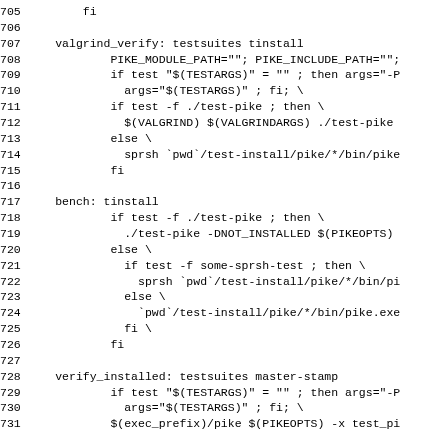Code listing lines 705-731 showing Makefile rules for valgrind_verify, bench, and verify_installed targets